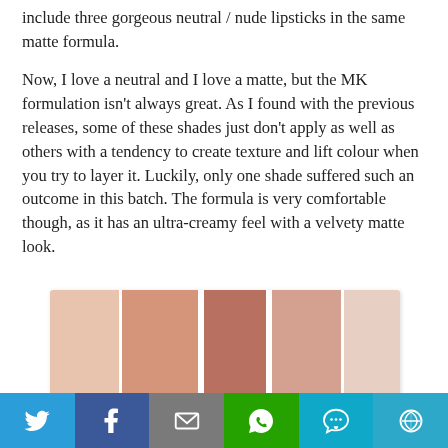include three gorgeous neutral / nude lipsticks in the same matte formula.

Now, I love a neutral and I love a matte, but the MK formulation isn't always great. As I found with the previous releases, some of these shades just don't apply as well as others with a tendency to create texture and lift colour when you try to layer it. Luckily, only one shade suffered such an outcome in this batch. The formula is very comfortable though, as it has an ultra-creamy feel with a velvety matte look.
[Figure (photo): Three lipstick swatches in neutral/nude matte shades ranging from light peach-nude to medium terracotta-brown, swatched on a light skin-toned background]
Twitter | Facebook | Email | WhatsApp | SMS | More